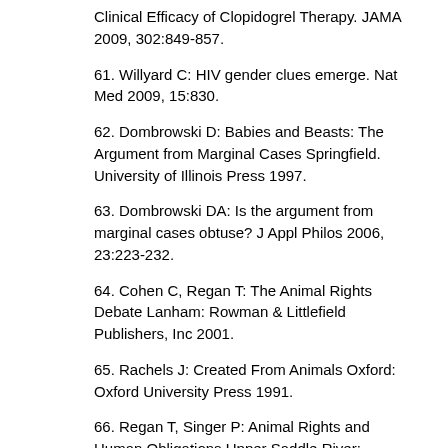Clinical Efficacy of Clopidogrel Therapy. JAMA 2009, 302:849-857.
61. Willyard C: HIV gender clues emerge. Nat Med 2009, 15:830.
62. Dombrowski D: Babies and Beasts: The Argument from Marginal Cases Springfield. University of Illinois Press 1997.
63. Dombrowski DA: Is the argument from marginal cases obtuse? J Appl Philos 2006, 23:223-232.
64. Cohen C, Regan T: The Animal Rights Debate Lanham: Rowman & Littlefield Publishers, Inc 2001.
65. Rachels J: Created From Animals Oxford: Oxford University Press 1991.
66. Regan T, Singer P: Animal Rights and Human Obligations Upper Saddle River: Prentice Hall 1989.
67. Hockfield S: The next innovation revolution. Science 2009, 323:1147.
68. Bush V: Science The Endless Frontier: A Report to the President by Vannevar Bush, Director of the Office